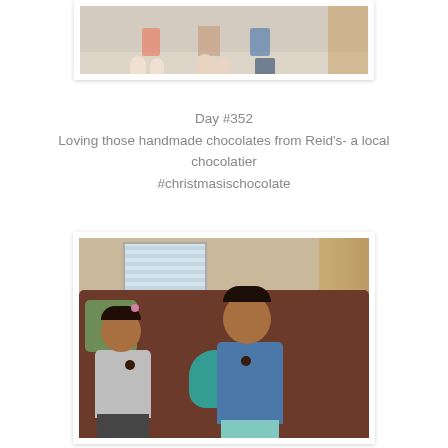[Figure (photo): Partial view of children sitting on floor, only feet and lower legs visible, carpet background]
Day #352
Loving those handmade chocolates from Reid's- a local chocolatier
#christmasischocolate
[Figure (photo): Two young children sitting on a brown leather couch holding chocolates, teal stuffed animal between them, curtained window in background]